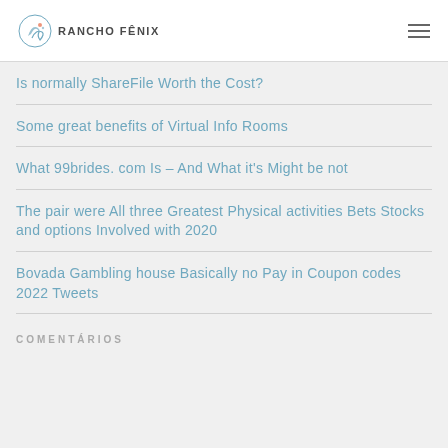RANCHO FÊNIX
Is normally ShareFile Worth the Cost?
Some great benefits of Virtual Info Rooms
What 99brides. com Is – And What it's Might be not
The pair were All three Greatest Physical activities Bets Stocks and options Involved with 2020
Bovada Gambling house Basically no Pay in Coupon codes 2022 Tweets
COMENTÁRIOS